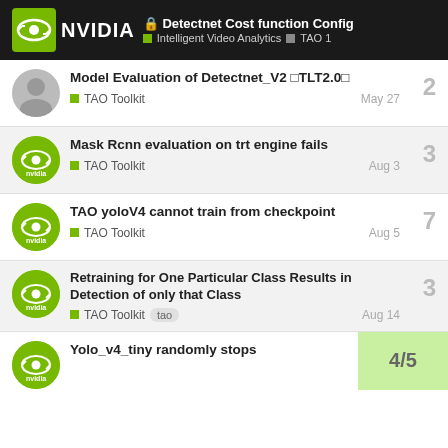Detectnet Cost function Config — Intelligent Video Analytics | TAO 1
Model Evaluation of Detectnet_V2 □TLT2.0□ — TAO Toolkit — May 27 — 2 replies
Mask Rcnn evaluation on trt engine fails — TAO Toolkit — Aug 3 — 3 replies
TAO yoloV4 cannot train from checkpoint — TAO Toolkit — Aug 5 — 7 replies
Retraining for One Particular Class Results in Detection of only that Class — TAO Toolkit — tao — Aug 14 — 3 replies
Yolo_v4_tiny randomly stops... — 4/5